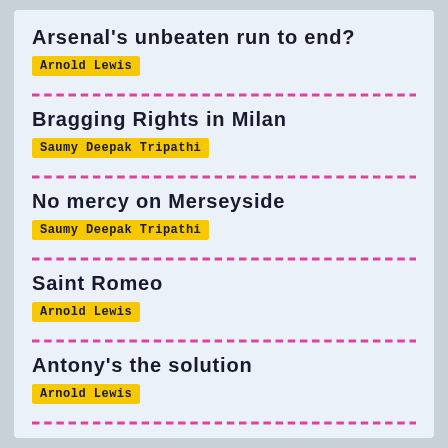Arsenal's unbeaten run to end?
Arnold Lewis
Bragging Rights in Milan
Saumy Deepak Tripathi
No mercy on Merseyside
Saumy Deepak Tripathi
Saint Romeo
Arnold Lewis
Antony's the solution
Arnold Lewis
D...li... ...l LIVE!